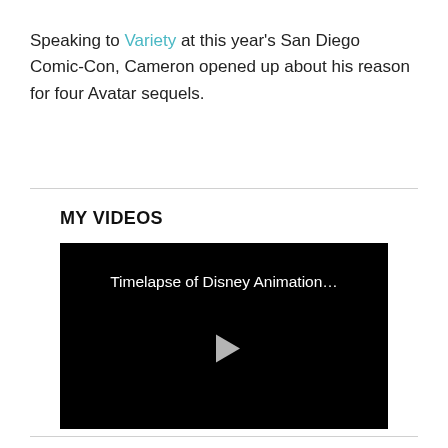Speaking to Variety at this year's San Diego Comic-Con, Cameron opened up about his reason for four Avatar sequels.
MY VIDEOS
[Figure (screenshot): Video thumbnail with black background showing title 'Timelapse of Disney Animation…' and a play button triangle in the center]